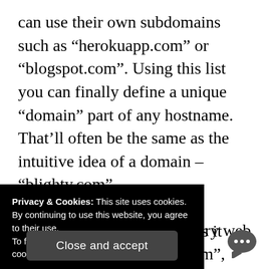can use their own subdomains such as “herokuapp.com” or “blogspot.com”. Using this list you can finally define a unique “domain” part of any hostname. That’ll often be the same as the intuitive idea of a domain – “blighty.com”, “losaltos.k12.ca.us” or “natwest.co.uk”. Sometimes it won’t be – “lecreuset.us.com”, “myapp.herokuapp.com” or “mynas.diskstation.me” – but in those cases it’s ...ins that are ...every web
Privacy & Cookies: This site uses cookies. By continuing to use this website, you agree to their use.
To find out more, including how to control cookies, see here: Cookie Policy
Close and accept